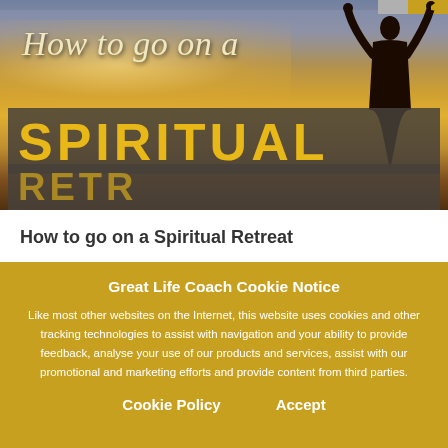[Figure (photo): Book or article cover image: person silhouette with arms raised against a golden sky, with text 'How to go on a' in italic serif font and 'SPIRITUAL' in large bold yellow uppercase letters on a dark banner.]
How to go on a Spiritual Retreat
Great Life Coach Cookie Notice
Like most other websites on the Internet, this website uses cookies and other tracking technologies to assist with navigation and your ability to provide feedback, analyse your use of our products and services, assist with our promotional and marketing efforts and provide content from third parties.
Cookie Policy    Accept